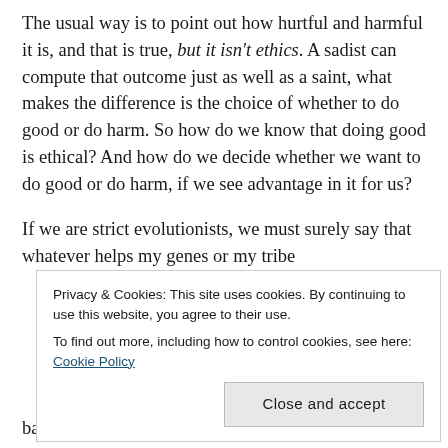The usual way is to point out how hurtful and harmful it is, and that is true, but it isn't ethics. A sadist can compute that outcome just as well as a saint, what makes the difference is the choice of whether to do good or do harm. So how do we know that doing good is ethical? And how do we decide whether we want to do good or do harm, if we see advantage in it for us?
If we are strict evolutionists, we must surely say that whatever helps my genes or my tribe
Privacy & Cookies: This site uses cookies. By continuing to use this website, you agree to their use.
To find out more, including how to control cookies, see here: Cookie Policy
bad, and that is a fact, but I don't think we